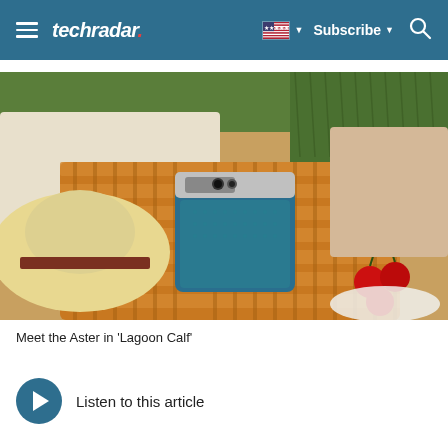techradar — Subscribe
[Figure (photo): A teal leather-covered smartphone (Aster in 'Lagoon Calf') resting on a wicker picnic basket, with a straw hat, white blanket, grass in background, and red cherries to the right]
Meet the Aster in 'Lagoon Calf'
Listen to this article